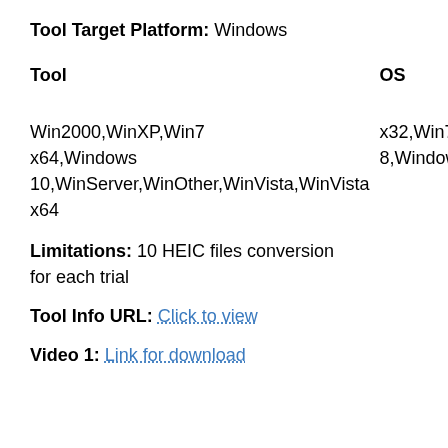Tool Target Platform: Windows
| Tool | OS | Support: |
| --- | --- | --- |
| Win2000,WinXP,Win7
x64,Windows
10,WinServer,WinOther,WinVista,WinVista
x64 |  | x32,Win7
8,Windows |
Limitations: 10 HEIC files conversion for each trial
Tool Info URL: Click to view
Video 1: Link for download